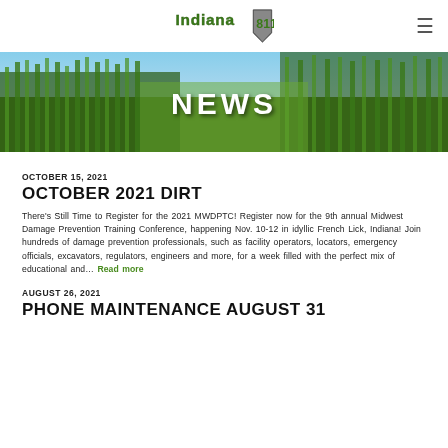Indiana 811 [logo] [hamburger menu]
[Figure (photo): Hero banner image of green cornfield/crops with NEWS title overlay]
NEWS
OCTOBER 15, 2021
OCTOBER 2021 DIRT
There's Still Time to Register for the 2021 MWDPTC! Register now for the 9th annual Midwest Damage Prevention Training Conference, happening Nov. 10-12 in idyllic French Lick, Indiana! Join hundreds of damage prevention professionals, such as facility operators, locators, emergency officials, excavators, regulators, engineers and more, for a week filled with the perfect mix of educational and… Read more
AUGUST 26, 2021
PHONE MAINTENANCE AUGUST 31